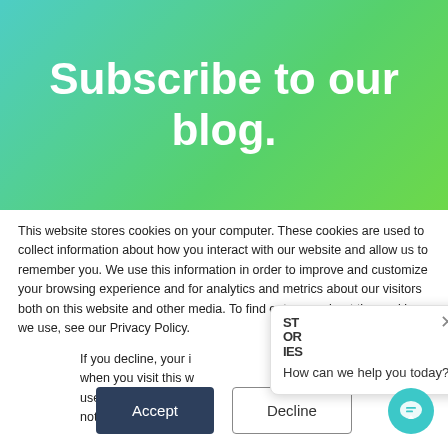Subscribe to our blog.
This website stores cookies on your computer. These cookies are used to collect information about how you interact with our website and allow us to remember you. We use this information in order to improve and customize your browsing experience and for analytics and metrics about our visitors both on this website and other media. To find out more about the cookies we use, see our Privacy Policy.
If you decline, your information won't be tracked when you visit this website. A single cookie will be used in your browser to remember your preference not to be tracked.
[Figure (screenshot): Cookie consent dialog with Accept and Decline buttons, and a chat widget popup showing 'How can we help you today?' with a STORIES logo and close button.]